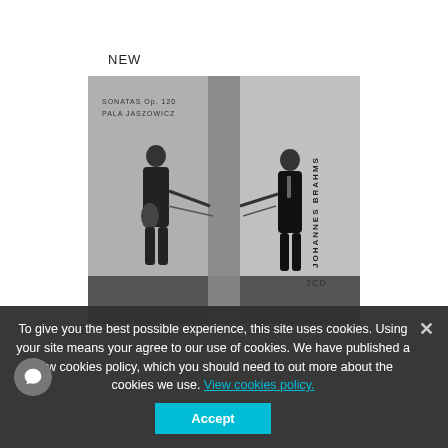NEW
[Figure (photo): Black and white album cover for Johannes Brahms Sonatas Op. 120 featuring two musicians in a corridor, text reads SONATAS Op. 120 PALA JASZOWICZ JOHANNES BRAHMS 2CD]
To give you the best possible experience, this site uses cookies. Using your site means your agree to our use of cookies. We have published a new cookies policy, which you should need to out more about the cookies we use. View cookies policy.
Accept